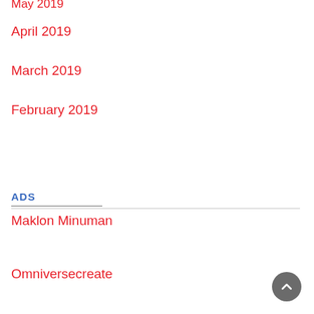May 2019
April 2019
March 2019
February 2019
ADS
Maklon Minuman
Omniversecreate